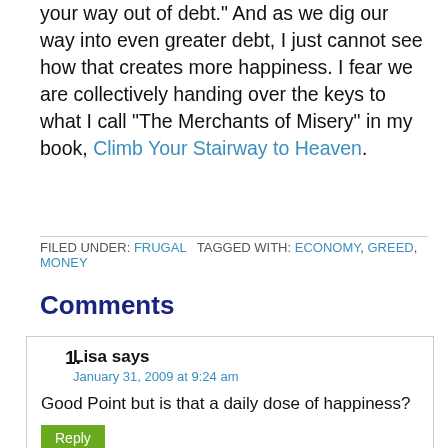your way out of debt.”  And as we dig our way into even greater debt, I just cannot see how that creates more happiness.  I fear we are collectively handing over the keys to what I call “The Merchants of Misery” in my book, Climb Your Stairway to Heaven.
FILED UNDER: FRUGAL  TAGGED WITH: ECONOMY, GREED, MONEY
Comments
Lisa says
January 31, 2009 at 9:24 am
Good Point but is that a daily dose of happiness?
KM says
January 31, 2009 at 5:49 pm
Hi,